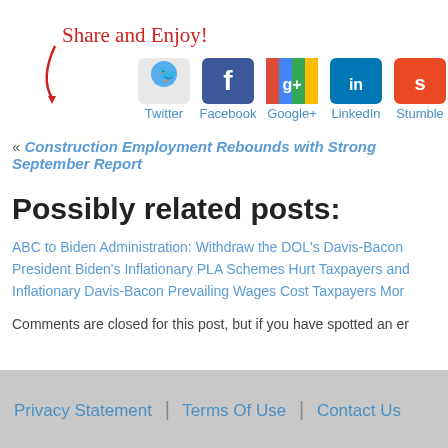[Figure (infographic): Handwritten red text 'Share and Enjoy!' with a red curved arrow pointing down-left toward social media icons]
[Figure (infographic): Row of social media icons: Twitter (bird icon), Facebook (blue f), Google+ (colorful g+), LinkedIn (blue in), Stumble (red icon) with labels below each]
« Construction Employment Rebounds with Strong September Report
Possibly related posts:
ABC to Biden Administration: Withdraw the DOL's Davis-Bacon
President Biden's Inflationary PLA Schemes Hurt Taxpayers and
Inflationary Davis-Bacon Prevailing Wages Cost Taxpayers Mor
Comments are closed for this post, but if you have spotted an er
Privacy Statement | Terms Of Use | Contact Us